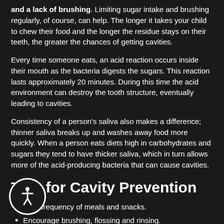and a lack of brushing. Limiting sugar intake and brushing regularly, of course, can help. The longer it takes your child to chew their food and the longer the residue stays on their teeth, the greater the chances of getting cavities.
Every time someone eats, an acid reaction occurs inside their mouth as the bacteria digests the sugars. This reaction lasts approximately 20 minutes. During this time the acid environment can destroy the tooth structure, eventually leading to cavities.
Consistency of a person's saliva also makes a difference; thinner saliva breaks up and washes away food more quickly. When a person eats diets high in carbohydrates and sugars they tend to have thicker saliva, which in turn allows more of the acid-producing bacteria that can cause cavities.
Tips for Cavity Prevention
Limit frequency of meals and snacks.
Encourage brushing, flossing and rinsing.
Watch what your child drinks.
Avoid giving your child sticky foods.
Make treats part of meals.
Choose nutritious snacks.